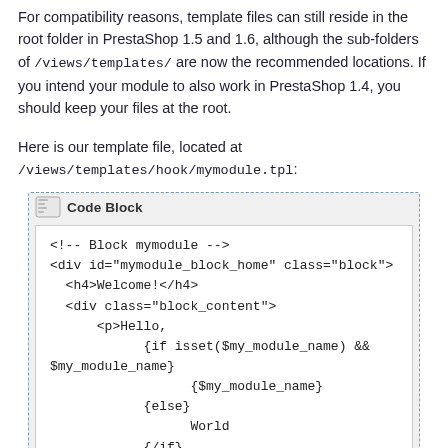For compatibility reasons, template files can still reside in the root folder in PrestaShop 1.5 and 1.6, although the sub-folders of /views/templates/ are now the recommended locations. If you intend your module to also work in PrestaShop 1.4, you should keep your files at the root.
Here is our template file, located at /views/templates/hook/mymodule.tpl:
[Figure (screenshot): Code Block showing a Smarty template file for mymodule.tpl with HTML and Smarty conditional syntax]